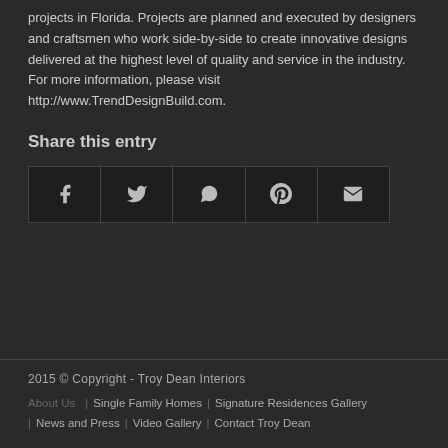projects in Florida. Projects are planned and executed by designers and craftsmen who work side-by-side to create innovative designs delivered at the highest level of quality and service in the industry. For more information, please visit http://www.TrendDesignBuild.com.
Share this entry
[Figure (other): Social sharing buttons row with icons for Facebook, Twitter, WhatsApp, Pinterest, and Email]
2015 © Copyright - Troy Dean Interiors | About Us | Single Family Homes | Signature Residences Gallery | News and Press | Video Gallery | Contact Troy Dean